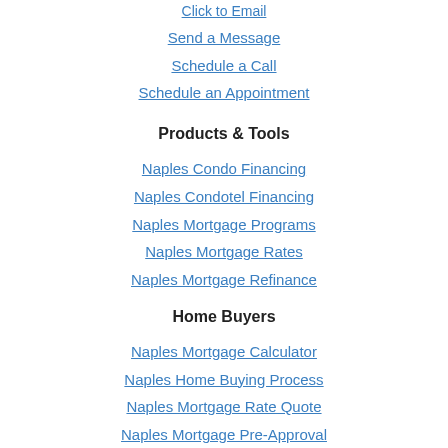Click to Email
Send a Message
Schedule a Call
Schedule an Appointment
Products & Tools
Naples Condo Financing
Naples Condotel Financing
Naples Mortgage Programs
Naples Mortgage Rates
Naples Mortgage Refinance
Home Buyers
Naples Mortgage Calculator
Naples Home Buying Process
Naples Mortgage Rate Quote
Naples Mortgage Pre-Approval
Naples Mortgage Reviews
[Figure (logo): Green star logo/icon at bottom center of page]